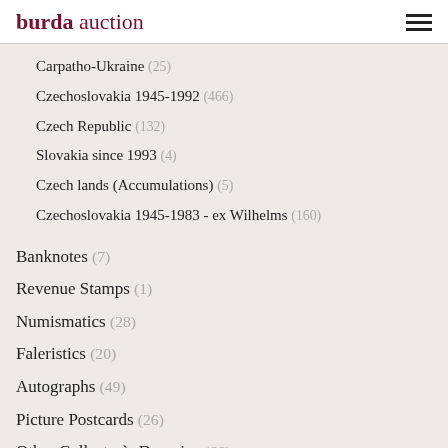burda auction
Carpatho-Ukraine (25)
Czechoslovakia 1945-1992 (466)
Czech Republic (132)
Slovakia since 1993 (4)
Czech lands (Accumulations) (5)
Czechoslovakia 1945-1983 - ex Wilhelms (160)
Banknotes (7)
Revenue Stamps (1)
Numismatics (28)
Faleristics (20)
Autographs (49)
Picture Postcards (26)
Other Collector`s Domains (66)
Accessories (4)
Exclusive items
Our Tips
Most interesting by clients